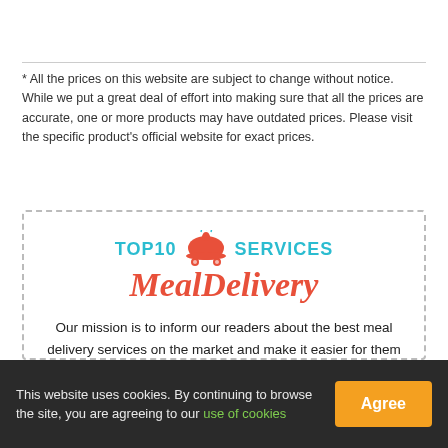* All the prices on this website are subject to change without notice. While we put a great deal of effort into making sure that all the prices are accurate, one or more products may have outdated prices. Please visit the specific product's official website for exact prices.
[Figure (logo): TOP10 SERVICES MealDelivery logo with a dish/cloche icon, top text in teal/cyan, 'MealDelivery' in red italic script font, inside a dashed border box]
Our mission is to inform our readers about the best meal delivery services on the market and make it easier for them to discover the optimal home dining solution. All top lists, reviews, and comparisons found on Top10MealDeliveryServices are based on...
This website uses cookies. By continuing to browse the site, you are agreeing to our use of cookies